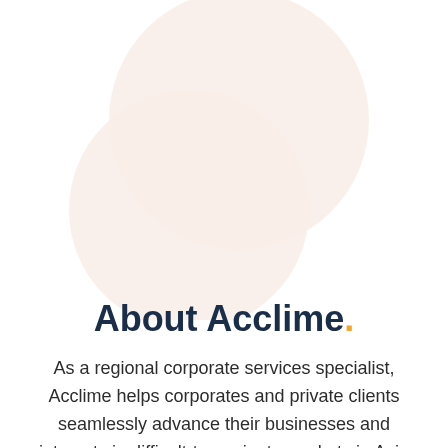[Figure (illustration): Two overlapping soft pink/beige circles forming a decorative blob shape in the upper portion of the page]
About Acclime.
As a regional corporate services specialist, Acclime helps corporates and private clients seamlessly advance their businesses and interests in difficult-to-navigate markets in Asia and beyond. Our years of in-